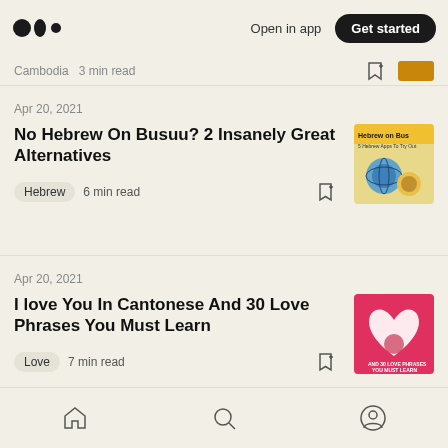Open in app  Get started
Cambodia  3 min read
Apr 20, 2021
No Hebrew On Busuu? 2 Insanely Great Alternatives
Hebrew  6 min read
[Figure (photo): Thumbnail image for Hebrew on Busuu article showing globe and Hebrew on Bus text]
Apr 20, 2021
I love You In Cantonese And 30 Love Phrases You Must Learn
Love  7 min read
[Figure (photo): Thumbnail image for Cantonese love phrases article showing red heart design]
Home  Search  Profile